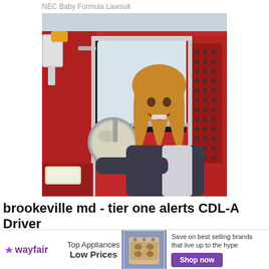NEC Baby Formula Lawsuit
[Figure (photo): A smiling woman with long blonde hair leaning out of the cab window of a large red semi-truck, arms resting on the door, wearing a dark jacket with white accents. The truck has chrome mirrors, silver details, and a perforated panel on the right side.]
brookeville md - tier one alerts CDL-A Driver
[Figure (other): Wayfair advertisement banner. Logo on left: star icon and 'wayfair' in purple. Center text: 'Top Appliances Low Prices'. Center image: a range/stove appliance in gold/champagne color on blue background. Right text: 'Save on best selling brands that live up to the hype' with a purple 'Shop now' button. Close button (X) in gray circle at top right.]